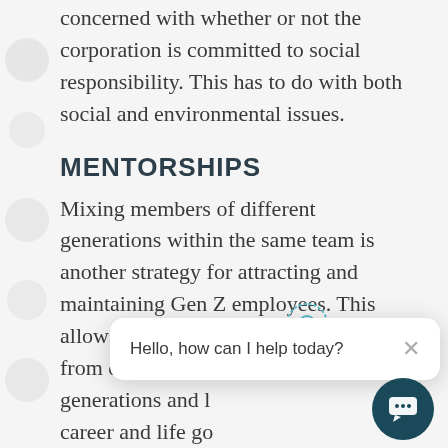concerned with whether or not the corporation is committed to social responsibility. This has to do with both social and environmental issues.
MENTORSHIPS
Mixing members of different generations within the same team is another strategy for attracting and maintaining Gen Z employees. This allows the younger generations to learn from older generations and l... career and life go...
JOB ROTATION
Members of Gen Z are particularly interested in having the chance to rotate